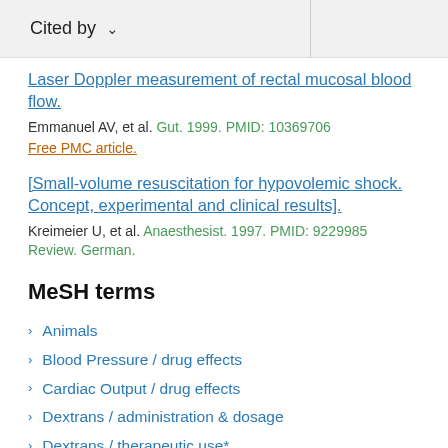Cited by
Laser Doppler measurement of rectal mucosal blood flow.
Emmanuel AV, et al. Gut. 1999. PMID: 10369706
Free PMC article.
[Small-volume resuscitation for hypovolemic shock. Concept, experimental and clinical results].
Kreimeier U, et al. Anaesthesist. 1997. PMID: 9229985 Review. German.
MeSH terms
Animals
Blood Pressure / drug effects
Cardiac Output / drug effects
Dextrans / administration & dosage
Dextrans / therapeutic use*
Ileum / blood supply